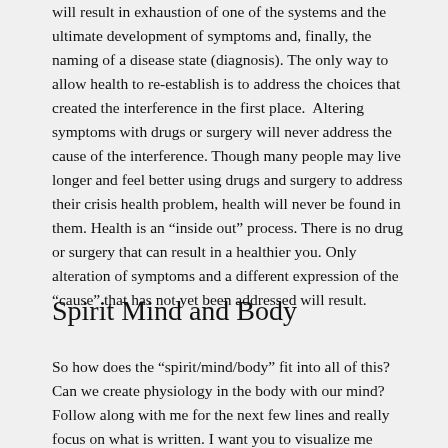will result in exhaustion of one of the systems and the ultimate development of symptoms and, finally, the naming of a disease state (diagnosis). The only way to allow health to re-establish is to address the choices that created the interference in the first place.  Altering symptoms with drugs or surgery will never address the cause of the interference. Though many people may live longer and feel better using drugs and surgery to address their crisis health problem, health will never be found in them. Health is an “inside out” process. There is no drug or surgery that can result in a healthier you. Only alteration of symptoms and a different expression of the “cause” that has not yet been addressed will result.
Spirit Mind and Body
So how does the “spirit/mind/body” fit into all of this? Can we create physiology in the body with our mind? Follow along with me for the next few lines and really focus on what is written. I want you to visualize me